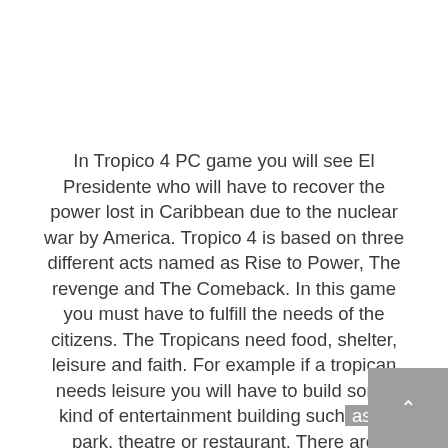In Tropico 4 PC game you will see El Presidente who will have to recover the power lost in Caribbean due to the nuclear war by America. Tropico 4 is based on three different acts named as Rise to Power, The revenge and The Comeback. In this game you must have to fulfill the needs of the citizens. The Tropicans need food, shelter, leisure and faith. For example if a tropican needs leisure you will have to build some kind of entertainment building such as a park, theatre or restaurant. There are different factions of people in Tropico 4 PC game. Such